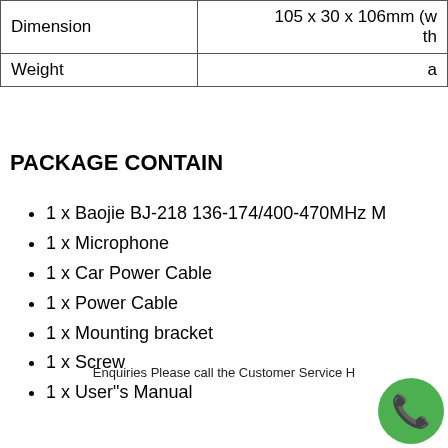|  |  |
| --- | --- |
| Dimension | 105 x 30 x 106mm (w... th... |
| Weight | a... |
PACKAGE CONTAIN
1 x Baojie BJ-218 136-174/400-470MHz M...
1 x Microphone
1 x Car Power Cable
1 x Power Cable
1 x Mounting bracket
1 x Screw
1 x User"s Manual
Enquiries Please call the Customer Service H...